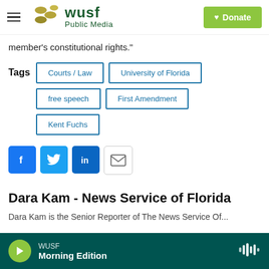WUSF Public Media — Donate
member's constitutional rights."
Tags: Courts / Law | University of Florida | free speech | First Amendment | Kent Fuchs
[Figure (infographic): Social sharing icons: Facebook, Twitter, LinkedIn, Email]
Dara Kam - News Service of Florida
(partially visible cutoff text at bottom)
WUSF — Morning Edition (audio player bar)